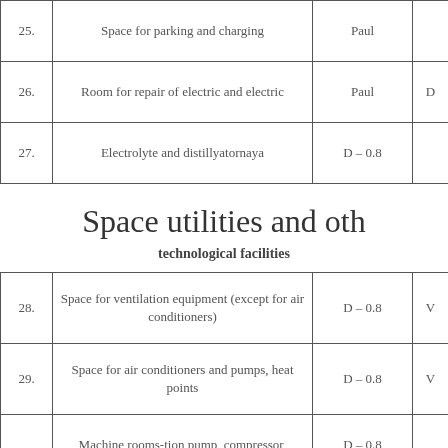| No. | Description | Value |  |
| --- | --- | --- | --- |
| 25. | Space for parking and charging | Paul |  |
| 26. | Room for repair of electric and electric | Paul | D |
| 27. | Electrolyte and distillyatornaya | D – 0.8 |  |
Space utilities and oth
technological facilities
| No. | Description | Value |  |
| --- | --- | --- | --- |
| 28. | Space for ventilation equipment (except for air conditioners) | D – 0.8 | V |
| 29. | Space for air conditioners and pumps, heat points | D – 0.8 | V |
| 30. | Machine rooms-tion pump, compressor, blowera) permanently manned staffb) no permanent staff on duty | D – 0.8
D – 0.8 |  |